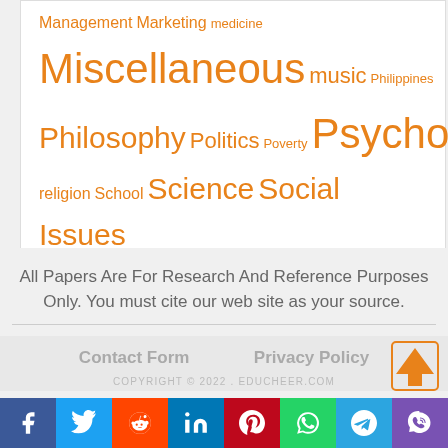[Figure (other): Tag cloud with orange-colored category words of various sizes: Management, Marketing, medicine, Miscellaneous, music, Philippines, Philosophy, Politics, Poverty, Psychology, religion, School, Science, Social Issues, Sociology, Story, Technology, war, Writing]
All Papers Are For Research And Reference Purposes Only. You must cite our web site as your source.
Contact Form   Privacy Policy   COPYRIGHT © 2022 . EDUCHEER.COM
[Figure (other): Social media share buttons bar: Facebook, Twitter, Reddit, LinkedIn, Pinterest, WhatsApp, Telegram, Viber]